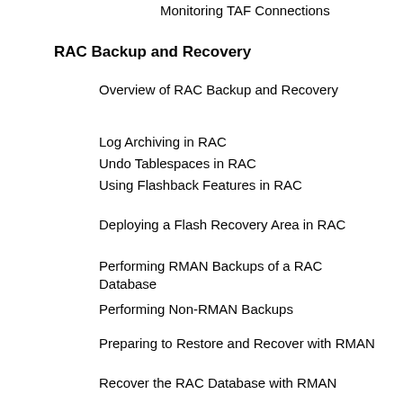Monitoring TAF Connections
RAC Backup and Recovery
Overview of RAC Backup and Recovery
Log Archiving in RAC
Undo Tablespaces in RAC
Using Flashback Features in RAC
Deploying a Flash Recovery Area in RAC
Performing RMAN Backups of a RAC Database
Performing Non-RMAN Backups
Preparing to Restore and Recover with RMAN
Recover the RAC Database with RMAN
Recovering Without RMAN
Cluster Management
Overview of Cluster